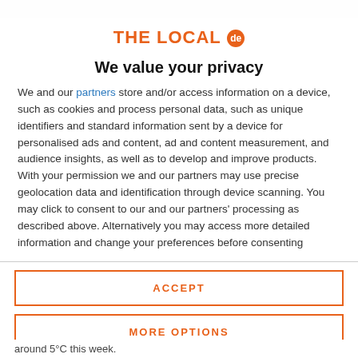[Figure (logo): THE LOCAL de logo in orange with circular 'de' badge]
We value your privacy
We and our partners store and/or access information on a device, such as cookies and process personal data, such as unique identifiers and standard information sent by a device for personalised ads and content, ad and content measurement, and audience insights, as well as to develop and improve products. With your permission we and our partners may use precise geolocation data and identification through device scanning. You may click to consent to our and our partners' processing as described above. Alternatively you may access more detailed information and change your preferences before consenting
ACCEPT
MORE OPTIONS
around 5°C this week.